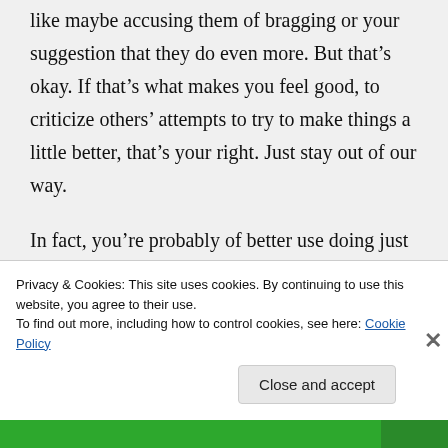like maybe accusing them of bragging or your suggestion that they do even more. But that's okay. If that's what makes you feel good, to criticize others' attempts to try to make things a little better, that's your right. Just stay out of our way.

In fact, you're probably of better use doing just what you do–trolling. You kind of galvanized the rest of us.
↑ Repl...
Privacy & Cookies: This site uses cookies. By continuing to use this website, you agree to their use.
To find out more, including how to control cookies, see here: Cookie Policy